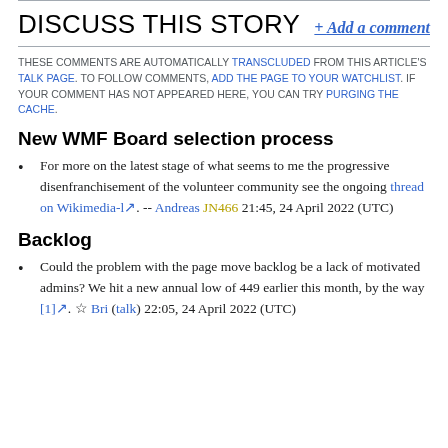DISCUSS THIS STORY + Add a comment
THESE COMMENTS ARE AUTOMATICALLY TRANSCLUDED FROM THIS ARTICLE'S TALK PAGE. TO FOLLOW COMMENTS, ADD THE PAGE TO YOUR WATCHLIST. IF YOUR COMMENT HAS NOT APPEARED HERE, YOU CAN TRY PURGING THE CACHE.
New WMF Board selection process
For more on the latest stage of what seems to me the progressive disenfranchisement of the volunteer community see the ongoing thread on Wikimedia-l. -- Andreas JN466 21:45, 24 April 2022 (UTC)
Backlog
Could the problem with the page move backlog be a lack of motivated admins? We hit a new annual low of 449 earlier this month, by the way [1]. ☆ Bri (talk) 22:05, 24 April 2022 (UTC)